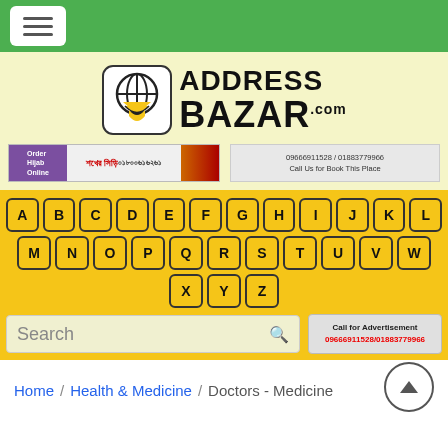[Figure (logo): AddressBazar.com logo with globe/book icon and bold text]
[Figure (screenshot): Mobile website screenshot with navigation, alphabet keyboard, search bar, breadcrumb navigation showing Home / Health & Medicine / Doctors - Medicine]
09666911528 / 01883779966
Call Us for Book This Place
A B C D E F G H I J K L M N O P Q R S T U V W X Y Z
Search
Call for Advertisement
09666911528/01883779966
Home / Health & Medicine / Doctors - Medicine